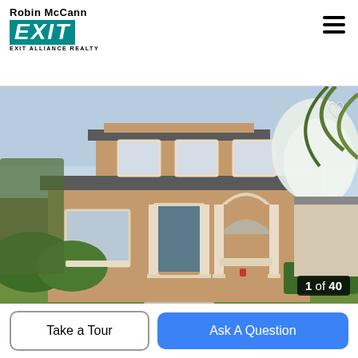Robin McCann EXIT Alliance Realty
[Figure (photo): Exterior photo of a two-story Mediterranean-style stucco home with tan/brown walls, arched windows and doorways, dark blue front door, tile roof, green landscaping, and white flowering trees. Concrete walkway leads to the entrance.]
1 of 40
Take a Tour
Ask A Question